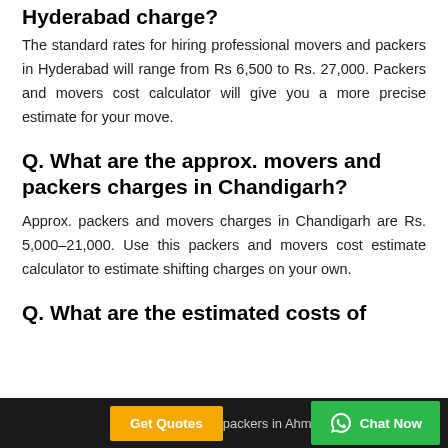Hyderabad charge?
The standard rates for hiring professional movers and packers in Hyderabad will range from Rs 6,500 to Rs. 27,000. Packers and movers cost calculator will give you a more precise estimate for your move.
Q. What are the approx. movers and packers charges in Chandigarh?
Approx. packers and movers charges in Chandigarh are Rs. 5,000–21,000. Use this packers and movers cost estimate calculator to estimate shifting charges on your own.
Q. What are the estimated costs of movers and packers in Ahmedabad
Get Quotes   Chat Now